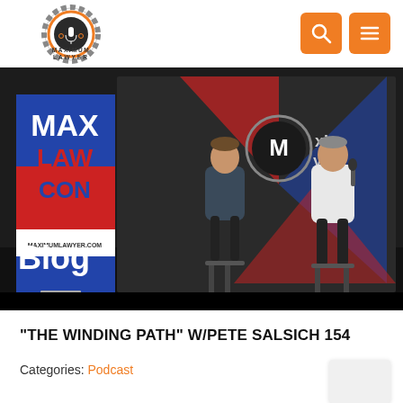[Figure (logo): Maximum Lawyer logo — gear with microphone and scales, text MAXIMUM LAWYER around gear]
[Figure (photo): Two men sitting on stools on a stage with MAX LAW CON banner on the left and Maximum Lawyer backdrop. Text 'Blog' overlaid in white bold on lower left.]
“THE WINDING PATH” W/PETE SALSICH 154
Categories: Podcast